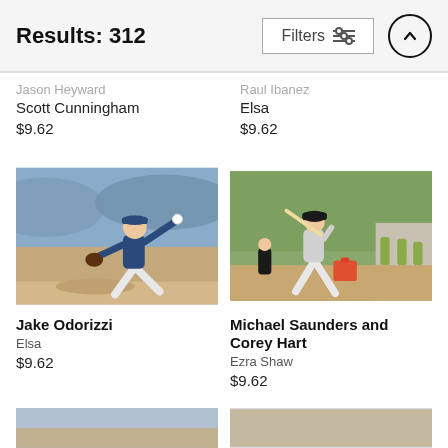Results: 312
Jason Heyward
Scott Cunningham
$9.62
Raul Ibanez
Elsa
$9.62
[Figure (photo): Baseball pitcher in Tampa Bay Rays uniform mid-pitch on mound]
Jake Odorizzi
Elsa
$9.62
[Figure (photo): Michael Saunders and Corey Hart, baseball player swinging bat]
Michael Saunders and Corey Hart
Ezra Shaw
$9.62
[Figure (photo): Partially visible baseball photo at bottom of page]